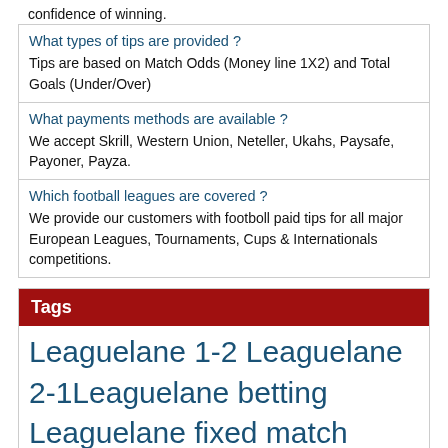confidence of winning.
What types of tips are provided ? Tips are based on Match Odds (Money line 1X2) and Total Goals (Under/Over)
What payments methods are available ? We accept Skrill, Western Union, Neteller, Ukahs, Paysafe, Payoner, Payza.
Which football leagues are covered ? We provide our customers with footboll paid tips for all major European Leagues, Tournaments, Cups & Internationals competitions.
Tags
Leaguelane 1-2 Leaguelane 2-1 Leaguelane betting Leaguelane fixed match Leaguelane fixed soccer Leaguelane free Leaguelane free tip Leaguelane free tips Leaguelane